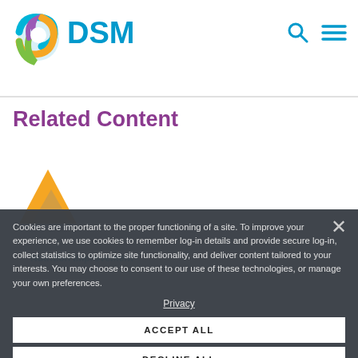[Figure (logo): DSM company logo with colorful swirl icon and blue DSM text, plus search and hamburger menu icons in cyan]
Related Content
[Figure (illustration): Partially visible pyramid/triangle icon in gold/yellow above a blurred nutrition improvement graphic]
Nutrition Improvement
Cookies are important to the proper functioning of a site. To improve your experience, we use cookies to remember log-in details and provide secure log-in, collect statistics to optimize site functionality, and deliver content tailored to your interests. You may choose to consent to our use of these technologies, or manage your own preferences.
Privacy
ACCEPT ALL
DECLINE ALL
MANAGE SETTINGS